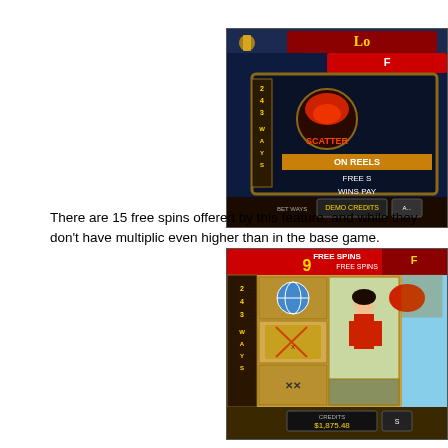[Figure (screenshot): Screenshot of a pirate-themed slot game showing a scatter bonus screen with '243 WAYS', 'SCATTER', 'ON REELS', 'FREE S...', 'WINS PAY' text, decorative pirate elements, and a red octopus symbol. Dark blue/brown themed UI with gold accents.]
There are 15 free spins offered by this feature, and while they don't have multiplic even higher than in the base game.
[Figure (screenshot): Screenshot of a pirate-themed slot game showing free spins mode with '9 FREE SPINS' counter, reels showing globe, octopus, treasure map, crossed pistols symbols, a female pirate character. '243 WAYS' sidebar. Credits shown at bottom: $1,875.48.]